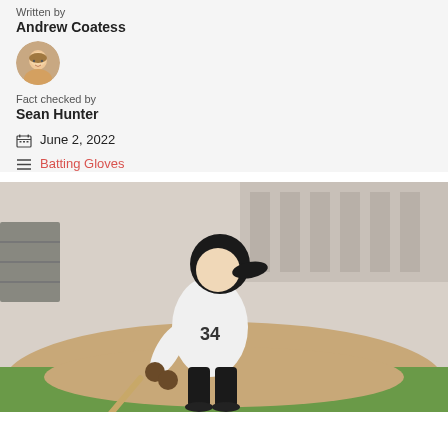Written by
Andrew Coatess
[Figure (photo): Circular avatar photo of a smiling man with light brown hair]
Fact checked by
Sean Hunter
June 2, 2022
Batting Gloves
[Figure (photo): Baseball player in white uniform wearing a black helmet, swinging a bat at a baseball field, viewed from behind]